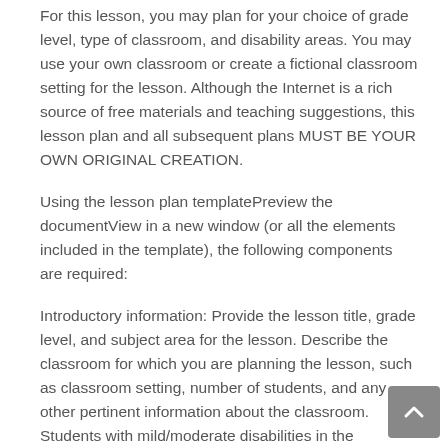For this lesson, you may plan for your choice of grade level, type of classroom, and disability areas. You may use your own classroom or create a fictional classroom setting for the lesson. Although the Internet is a rich source of free materials and teaching suggestions, this lesson plan and all subsequent plans MUST BE YOUR OWN ORIGINAL CREATION.
Using the lesson plan templatePreview the documentView in a new window (or all the elements included in the template), the following components are required:
Introductory information: Provide the lesson title, grade level, and subject area for the lesson. Describe the classroom for which you are planning the lesson, such as classroom setting, number of students, and any other pertinent information about the classroom. Students with mild/moderate disabilities in the classroom: Describe at least one learner with a